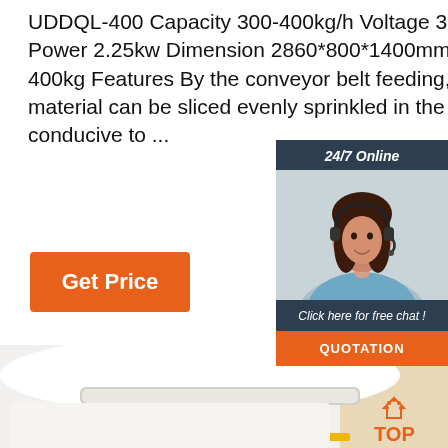UDDQL-400 Capacity 300-400kg/h Voltage 380v/50Hz Power 2.25kw Dimension 2860*800*1400mm Weight 400kg Features By the conveyor belt feeding, the material can be sliced evenly sprinkled in the feed hop... conducive to ...
Get Price
[Figure (photo): Chat widget with 24/7 Online label, photo of a female customer service agent wearing a headset, 'Click here for free chat!' text, and an orange QUOTATION button]
[Figure (photo): Product image showing a white industrial machine/equipment component, possibly a conveyor or slicer part, with a brown background element and an orange TOP logo in the bottom right corner]